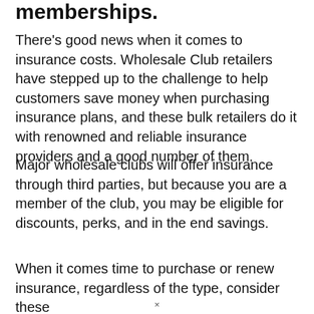memberships.
There’s good news when it comes to insurance costs. Wholesale Club retailers have stepped up to the challenge to help customers save money when purchasing insurance plans, and these bulk retailers do it with renowned and reliable insurance providers and a good number of them.
Major wholesale clubs will offer insurance through third parties, but because you are a member of the club, you may be eligible for discounts, perks, and in the end savings.
When it comes time to purchase or renew insurance, regardless of the type, consider these